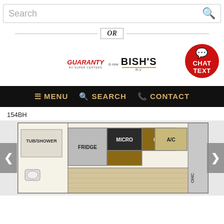Search
OR
[Figure (logo): Guaranty RV Super Centers logo and Bish's RV logo side by side]
[Figure (infographic): Red circular chat/text button with speech bubble icon, CHAT TEXT]
MENU  SEARCH  CONTACT
154BH
[Figure (engineering-diagram): RV floorplan diagram showing TUB/SHOWER, FRIDGE, MICRO, OHC, A/C areas with navigation arrows on sides]